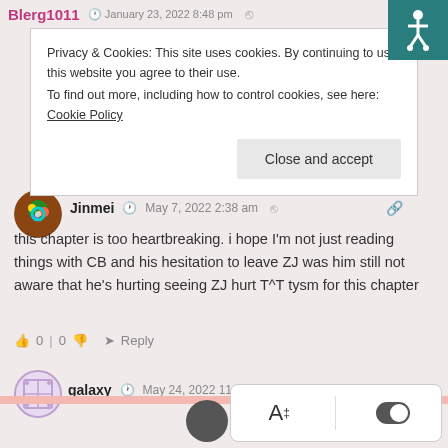Blerg1011  January 23, 2022 8:48 pm
Privacy & Cookies: This site uses cookies. By continuing to use this website you agree to their use.
To find out more, including how to control cookies, see here: Cookie Policy
Close and accept
Jinmei  May 7, 2022 2:38 am
this chapter is too heartbreaking. i hope I'm not just reading things with CB and his hesitation to leave ZJ was him still not aware that he's hurting seeing ZJ hurt T^T tysm for this chapter
0 | 0   Reply
galaxy  May 24, 2022 11:13 pm